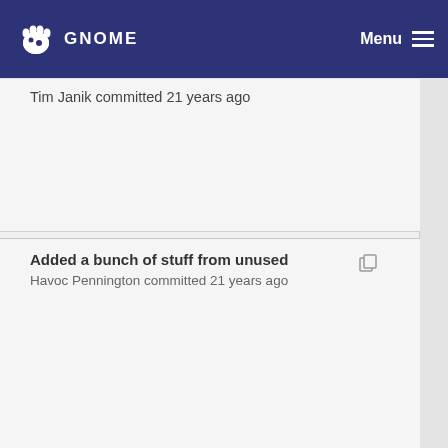GNOME Menu
Tim Janik committed 21 years ago
Added a bunch of stuff from unused
Havoc Pennington committed 21 years ago